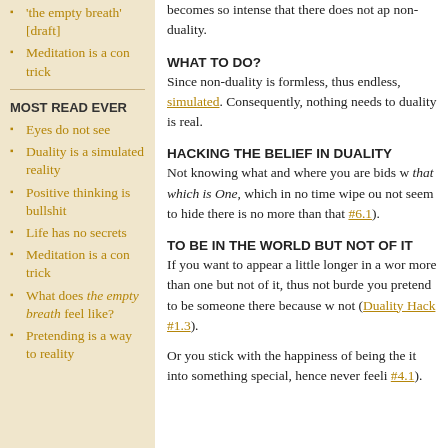'the empty breath' [draft]
Meditation is a con trick
MOST READ EVER
Eyes do not see
Duality is a simulated reality
Positive thinking is bullshit
Life has no secrets
Meditation is a con trick
What does the empty breath feel like?
Pretending is a way to reality
becomes so intense that there does not ap non-duality.
WHAT TO DO?
Since non-duality is formless, thus endless, simulated. Consequently, nothing needs to duality is real.
HACKING THE BELIEF IN DUALITY
Not knowing what and where you are bids w that which is One, which in no time wipe ou not seem to hide there is no more than that #6.1).
TO BE IN THE WORLD BUT NOT OF IT
If you want to appear a little longer in a wor more than one but not of it, thus not burde you pretend to be someone there because w not (Duality Hack #1.3).
Or you stick with the happiness of being the it into something special, hence never feeli #4.1).